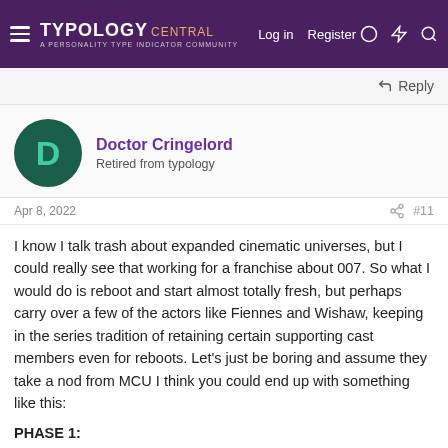TYPOLOGY CENTRAL – A Personality Type Indicator Community | Log in | Register
Reply
Doctor Cringelord
Retired from typology
Apr 8, 2022  #11
I know I talk trash about expanded cinematic universes, but I could really see that working for a franchise about 007. So what I would do is reboot and start almost totally fresh, but perhaps carry over a few of the actors like Fiennes and Wishaw, keeping in the series tradition of retaining certain supporting cast members even for reboots. Let's just be boring and assume they take a nod from MCU I think you could end up with something like this:
PHASE 1:
1. Bond 1 - an obligatory origins film. I know Casino Royale